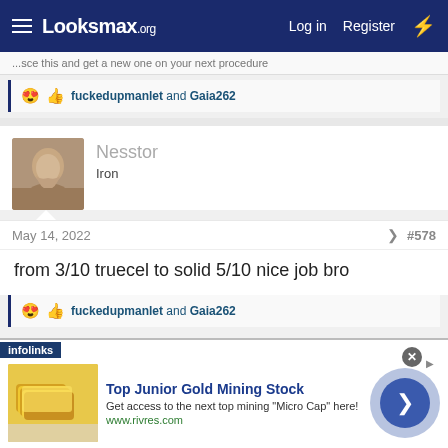Looksmax.org — Log in | Register
...sce this and get a new one on your next procedure
fuckedupmanlet and Gaia262
Nesstor
Iron
May 14, 2022   #578
from 3/10 truecel to solid 5/10 nice job bro
fuckedupmanlet and Gaia262